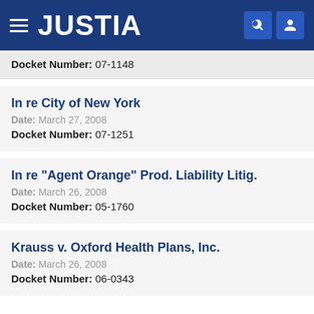JUSTIA
Docket Number: 07-1148
In re City of New York
Date: March 27, 2008
Docket Number: 07-1251
In re "Agent Orange" Prod. Liability Litig.
Date: March 26, 2008
Docket Number: 05-1760
Krauss v. Oxford Health Plans, Inc.
Date: March 26, 2008
Docket Number: 06-0343